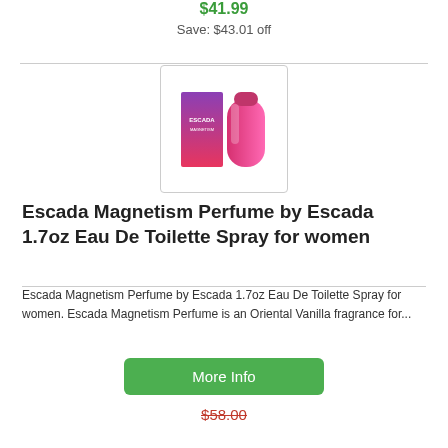$41.99
Save: $43.01 off
[Figure (photo): Escada Magnetism perfume product image showing purple/pink box and hot pink bottle]
Escada Magnetism Perfume by Escada 1.7oz Eau De Toilette Spray for women
Escada Magnetism Perfume by Escada 1.7oz Eau De Toilette Spray for women. Escada Magnetism Perfume is an Oriental Vanilla fragrance for...
More Info
$58.00